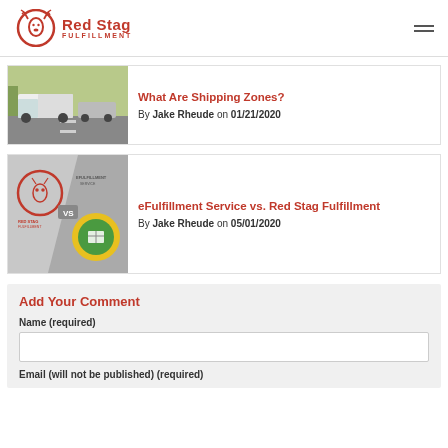Red Stag Fulfillment
[Figure (photo): Trucks on a highway with agricultural landscape]
What Are Shipping Zones? By Jake Rheude on 01/21/2020
[Figure (logo): Red Stag Fulfillment vs eFulfillment Service graphic]
eFulfillment Service vs. Red Stag Fulfillment By Jake Rheude on 05/01/2020
Add Your Comment
Name (required)
Email (will not be published) (required)